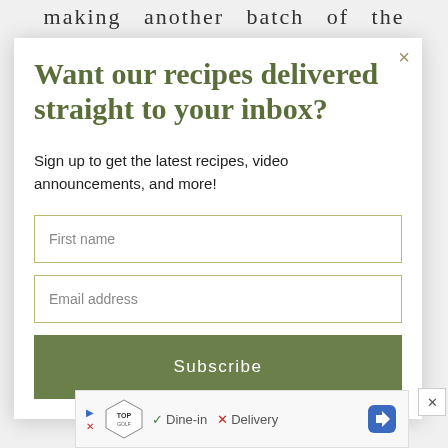making another batch of the
Want our recipes delivered straight to your inbox?
Sign up to get the latest recipes, video announcements, and more!
First name
Email address
Subscribe
[Figure (screenshot): Advertisement banner for Topgolf showing logo, Dine-in checkmark and Delivery X options, with navigation arrow icon]